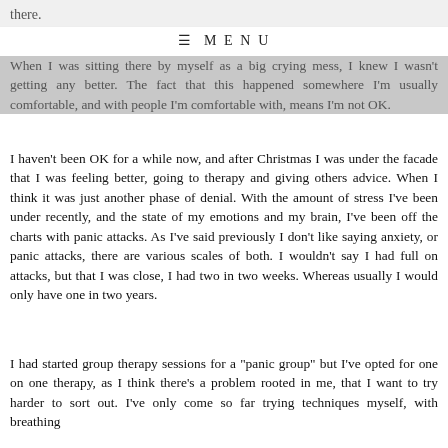there.
≡ MENU
When I was sitting there by myself as a big crying mess, I knew I wasn't getting any better. The fact that this happened somewhere I'm usually comfortable, and with people I'm comfortable with, means I'm not OK.
I haven't been OK for a while now, and after Christmas I was under the facade that I was feeling better, going to therapy and giving others advice. When I think it was just another phase of denial. With the amount of stress I've been under recently, and the state of my emotions and my brain, I've been off the charts with panic attacks. As I've said previously I don't like saying anxiety, or panic attacks, there are various scales of both. I wouldn't say I had full on attacks, but that I was close, I had two in two weeks. Whereas usually I would only have one in two years.
I had started group therapy sessions for a "panic group" but I've opted for one on one therapy, as I think there's a problem rooted in me, that I want to try harder to sort out. I've only come so far trying techniques myself, with breathing